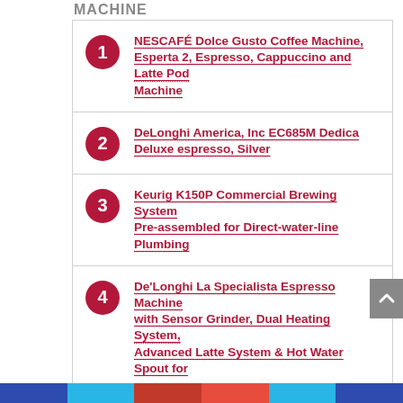MACHINE
NESCAFÉ Dolce Gusto Coffee Machine, Esperta 2, Espresso, Cappuccino and Latte Pod Machine
DeLonghi America, Inc EC685M Dedica Deluxe espresso, Silver
Keurig K150P Commercial Brewing System Pre-assembled for Direct-water-line Plumbing
De'Longhi La Specialista Espresso Machine with Sensor Grinder, Dual Heating System, Advanced Latte System & Hot Water Spout for